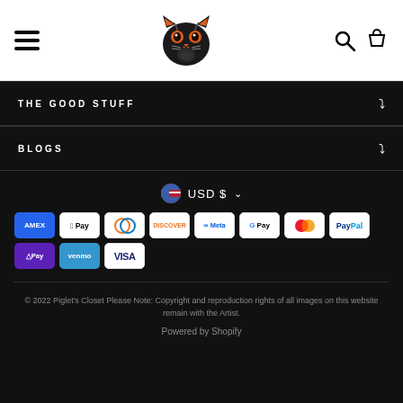Navigation header with hamburger menu, black cat logo, search and cart icons
THE GOOD STUFF
BLOGS
USD $
[Figure (logo): Payment method icons: Amex, Apple Pay, Diners, Discover, Meta Pay, Google Pay, Mastercard, PayPal, Shop Pay, Venmo, Visa]
© 2022 Piglet's Closet Please Note: Copyright and reproduction rights of all images on this website remain with the Artist.
Powered by Shopify